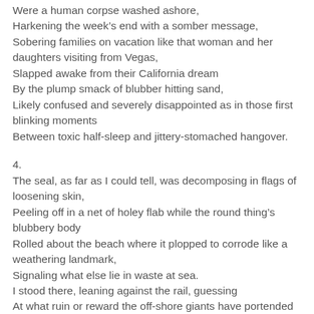Were a human corpse washed ashore,
Harkening the week's end with a somber message,
Sobering families on vacation like that woman and her daughters visiting from Vegas,
Slapped awake from their California dream
By the plump smack of blubber hitting sand,
Likely confused and severely disappointed as in those first blinking moments
Between toxic half-sleep and jittery-stomached hangover.
4.
The seal, as far as I could tell, was decomposing in flags of loosening skin,
Peeling off in a net of holey flab while the round thing's blubbery body
Rolled about the beach where it plopped to corrode like a weathering landmark,
Signaling what else lie in waste at sea.
I stood there, leaning against the rail, guessing
At what ruin or reward the off-shore giants have portended for you and me